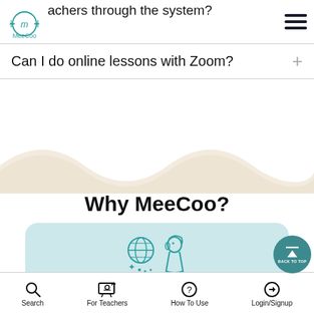MeeCoo logo and navigation menu
achers through the system?
Can I do online lessons with Zoom?
[Figure (illustration): Wavy decorative divider in beige/cream color]
Why MeeCoo?
[Figure (illustration): Teal line illustration of a person's face profile with a globe/speech bubble icon, on a light blue rounded card background]
1. Various lesson genres
Search | For Teachers | How To Use | Login/Signup